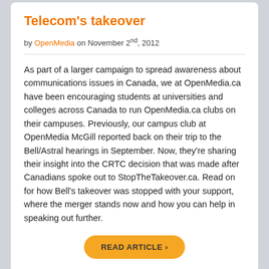Telecom's takeover
by OpenMedia on November 2nd, 2012
As part of a larger campaign to spread awareness about communications issues in Canada, we at OpenMedia.ca have been encouraging students at universities and colleges across Canada to run OpenMedia.ca clubs on their campuses. Previously, our campus club at OpenMedia McGill reported back on their trip to the Bell/Astral hearings in September. Now, they're sharing their insight into the CRTC decision that was made after Canadians spoke out to StopTheTakeover.ca. Read on for how Bell's takeover was stopped with your support, where the merger stands now and how you can help in speaking out further.
READ ARTICLE ›
Big Telecom's cell phone complaints rise